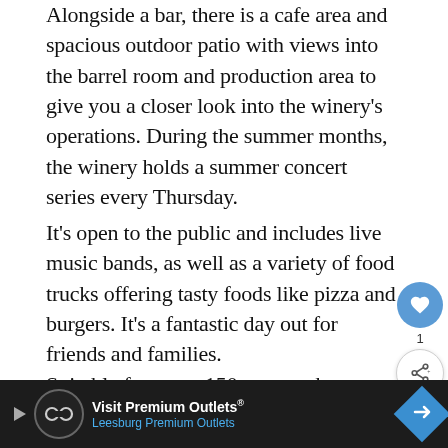Alongside a bar, there is a cafe area and spacious outdoor patio with views into the barrel room and production area to give you a closer look into the winery's operations. During the summer months, the winery holds a summer concert series every Thursday.
It's open to the public and includes live music bands, as well as a variety of food trucks offering tasty foods like pizza and burgers. It's a fantastic day out for friends and families.
Suitable for up to 150 guests, the winery's large and sophisticated event room [is] rented out for weddings and private parties.
[Figure (screenshot): UI overlay with heart/like icon (blue circle, count of 1) and share icon (white circle)]
[Figure (infographic): What's Next overlay showing thumbnail of a vineyard field and text '10 Best Wineries in...']
[Figure (infographic): Advertisement banner: Visit Premium Outlets® Leesburg Premium Outlets, with logo and blue diamond arrow icon]